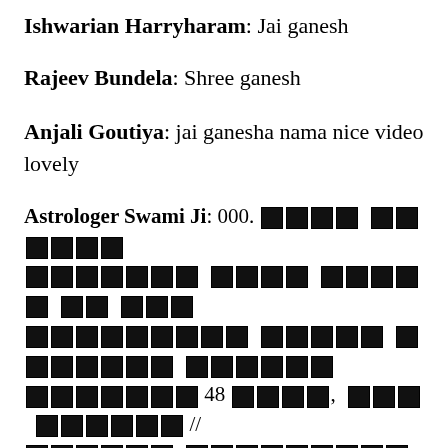Ishwarian Harryharam: Jai ganesh
Rajeev Bundela: Shree ganesh
Anjali Goutiya: jai ganesha nama nice video lovely
Astrologer Swami Ji: 000. [redacted text] 48 [redacted], [redacted] // [redacted] [redacted], 48 [redacted] [redacted], !! [redacted] + 91-9855160796 [redacted]: ~ [redacted] / [redacted] [redacted]